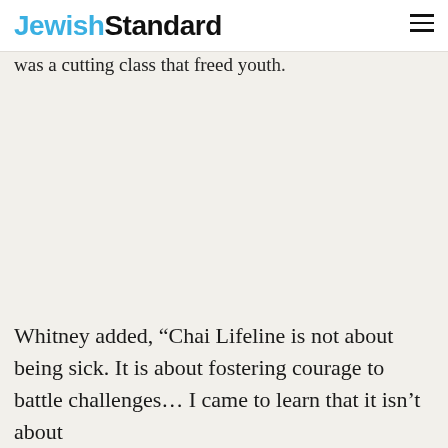Jewish Standard
was a cutting class that freed youth.
Whitney added, “Chai Lifeline is not about being sick. It is about fostering courage to battle challenges… I came to learn that it isn’t about